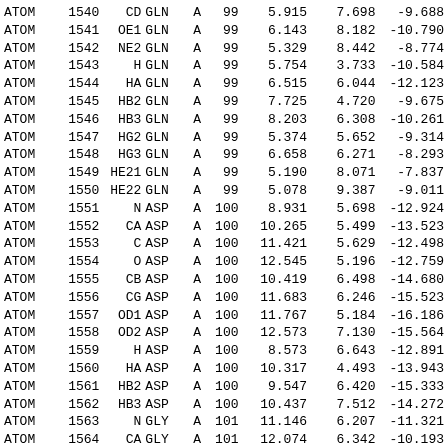| ATOM | 1540 | CD | GLN | A | 99 | 5.915 | 7.698 | -9.688 |
| ATOM | 1541 | OE1 | GLN | A | 99 | 6.143 | 8.182 | -10.790 |
| ATOM | 1542 | NE2 | GLN | A | 99 | 5.329 | 8.442 | -8.774 |
| ATOM | 1543 | H | GLN | A | 99 | 5.754 | 3.733 | -10.584 |
| ATOM | 1544 | HA | GLN | A | 99 | 6.515 | 6.044 | -12.123 |
| ATOM | 1545 | HB2 | GLN | A | 99 | 7.725 | 4.720 | -9.675 |
| ATOM | 1546 | HB3 | GLN | A | 99 | 8.203 | 6.308 | -10.261 |
| ATOM | 1547 | HG2 | GLN | A | 99 | 5.374 | 5.652 | -9.314 |
| ATOM | 1548 | HG3 | GLN | A | 99 | 6.658 | 6.271 | -8.293 |
| ATOM | 1549 | HE21 | GLN | A | 99 | 5.190 | 8.071 | -7.837 |
| ATOM | 1550 | HE22 | GLN | A | 99 | 5.078 | 9.387 | -9.011 |
| ATOM | 1551 | N | ASP | A | 100 | 8.931 | 5.698 | -12.924 |
| ATOM | 1552 | CA | ASP | A | 100 | 10.265 | 5.499 | -13.523 |
| ATOM | 1553 | C | ASP | A | 100 | 11.421 | 5.629 | -12.498 |
| ATOM | 1554 | O | ASP | A | 100 | 12.545 | 5.196 | -12.759 |
| ATOM | 1555 | CB | ASP | A | 100 | 10.419 | 6.498 | -14.680 |
| ATOM | 1556 | CG | ASP | A | 100 | 11.683 | 6.246 | -15.523 |
| ATOM | 1557 | OD1 | ASP | A | 100 | 11.767 | 5.184 | -16.186 |
| ATOM | 1558 | OD2 | ASP | A | 100 | 12.573 | 7.130 | -15.564 |
| ATOM | 1559 | H | ASP | A | 100 | 8.573 | 6.643 | -12.891 |
| ATOM | 1560 | HA | ASP | A | 100 | 10.317 | 4.493 | -13.943 |
| ATOM | 1561 | HB2 | ASP | A | 100 | 9.547 | 6.420 | -15.333 |
| ATOM | 1562 | HB3 | ASP | A | 100 | 10.437 | 7.512 | -14.272 |
| ATOM | 1563 | N | GLY | A | 101 | 11.146 | 6.207 | -11.321 |
| ATOM | 1564 | CA | GLY | A | 101 | 12.074 | 6.342 | -10.193 |
| ATOM | 1565 | C | GLY | A | 101 | 12.225 | 5.050 | -9.381 |
| ATOM | 1566 | O | GLY | A | 101 | 11.499 | 4.073 | -9.586 |
| ATOM | 1567 | H | GLY | A | 101 | 10.191 | 6.467 | -11.152 |
| ATOM | 1568 | HA2 | GLY | A | 101 | 13.058 | 6.634 | -10.564 |
| ATOM | 1569 | HA3 | GLY | A | 101 | 11.726 | 7.132 | -9.528 |